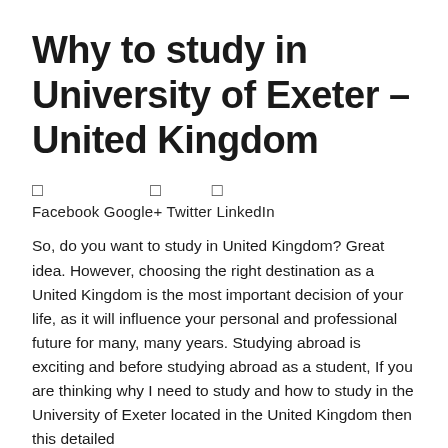Why to study in University of Exeter – United Kingdom
□  □  □
Facebook Google+ Twitter LinkedIn
So, do you want to study in United Kingdom? Great idea. However, choosing the right destination as a United Kingdom is the most important decision of your life, as it will influence your personal and professional future for many, many years. Studying abroad is exciting and before studying abroad as a student, If you are thinking why I need to study and how to study in the University of Exeter located in the United Kingdom then this detailed